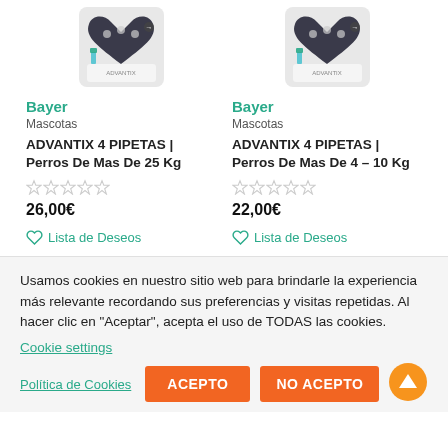[Figure (photo): Product image of Bayer Advantix pipetas for dogs over 25kg in heart-shaped packaging]
Bayer
Mascotas
ADVANTIX 4 PIPETAS | Perros De Mas De 25 Kg
26,00€
Lista de Deseos
[Figure (photo): Product image of Bayer Advantix pipetas for dogs 4-10kg in heart-shaped packaging]
Bayer
Mascotas
ADVANTIX 4 PIPETAS | Perros De Mas De 4 – 10 Kg
22,00€
Lista de Deseos
Usamos cookies en nuestro sitio web para brindarle la experiencia más relevante recordando sus preferencias y visitas repetidas. Al hacer clic en "Aceptar", acepta el uso de TODAS las cookies.
Cookie settings
Política de Cookies
ACEPTO
NO ACEPTO